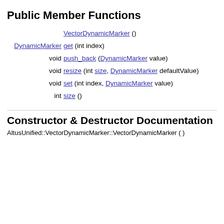Public Member Functions
| Return Type | Function Signature |
| --- | --- |
|  | VectorDynamicMarker () |
| DynamicMarker | get (int index) |
| void | push_back (DynamicMarker value) |
| void | resize (int size, DynamicMarker defaultValue) |
| void | set (int index, DynamicMarker value) |
| int | size () |
Constructor & Destructor Documentation
AltusUnified::VectorDynamicMarker::VectorDynamicMarker ( )